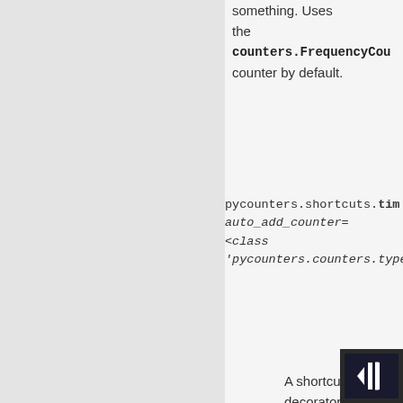something. Uses the counters.FrequencyCounter counter by default.
pycounters.shortcuts.tim auto_add_counter= <class 'pycounters.counters.types.Av
A shortcut decorator to count the average execution time of a function. Uses the counters.AverageTimeC counter by default. If the parameter name is not supplied events are reported under the name of the wrapped function